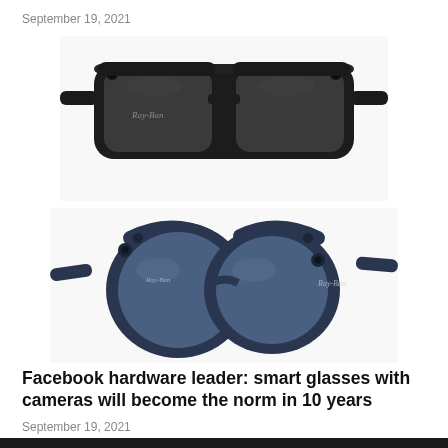September 19, 2021
[Figure (photo): Ray-Ban smart glasses with black wayfarer-style frames and dark gray lenses, front-facing view showing small cameras on the corners of the frame]
[Figure (photo): Ray-Ban smart glasses with navy blue round frames and blue-tinted lenses, three-quarter angle view showing camera and Ray-Ban logo on temple]
Facebook hardware leader: smart glasses with cameras will become the norm in 10 years
September 19, 2021
[Figure (photo): Partial bottom view of dark smart glasses, cropped at bottom of page]